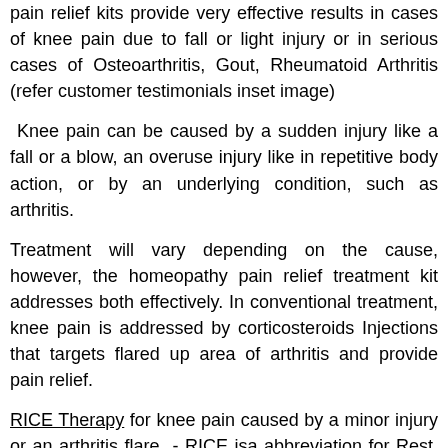pain relief kits provide very effective results in cases of knee pain due to fall or light injury or in serious cases of Osteoarthritis, Gout, Rheumatoid Arthritis (refer customer testimonials inset image)
Knee pain can be caused by a sudden injury like a fall or a blow, an overuse injury like in repetitive body action, or by an underlying condition, such as arthritis.
Treatment will vary depending on the cause, however, the homeopathy pain relief treatment kit addresses both effectively. In conventional treatment, knee pain is addressed by corticosteroids Injections that targets flared up area of arthritis and provide pain relief.
RICE Therapy for knee pain caused by a minor injury or an arthritis flare - RICE isa abbreviation for Rest, Ice, Compression, and Elevation. In this you give your knee some rest, apply ice to reduce swelling, wear a compressive bandage, and keep your knee elevated.
Knee Pain Symptoms